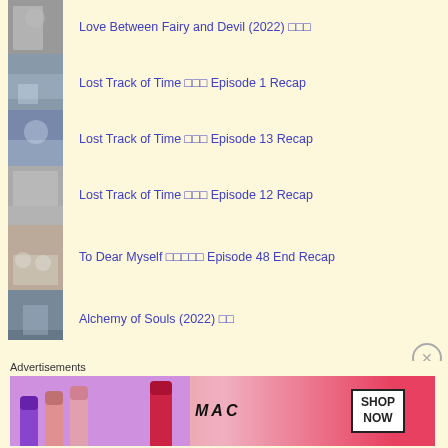Love Between Fairy and Devil (2022) □□□
Lost Track of Time □□□ Episode 1 Recap
Lost Track of Time □□□ Episode 13 Recap
Lost Track of Time □□□ Episode 12 Recap
To Dear Myself □□□□□ Episode 48 End Recap
Alchemy of Souls (2022) □□
Lost Track of Time □□□ Episode 2 Recap
Advertisements
[Figure (photo): MAC Cosmetics advertisement showing lipsticks with SHOP NOW button]